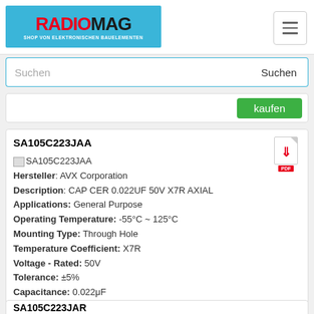[Figure (logo): Radiomag logo - shop von elektronischen bauelementen, blue background with red RADIO and dark MAG text]
Suchen
kaufen
SA105C223JAA
Hersteller: AVX Corporation
Description: CAP CER 0.022UF 50V X7R AXIAL
Applications: General Purpose
Operating Temperature: -55°C ~ 125°C
Mounting Type: Through Hole
Temperature Coefficient: X7R
Voltage - Rated: 50V
Tolerance: ±5%
Capacitance: 0.022μF
Size / Dimension: 0.551" H x 0.295" W x 0.331" D (14.00mm x 7.50mm x 8.40mm)
auf Bestellung 11 Stücke
Lieferzeit 21-28 Tag (e)
kaufen
SA105C223JAR